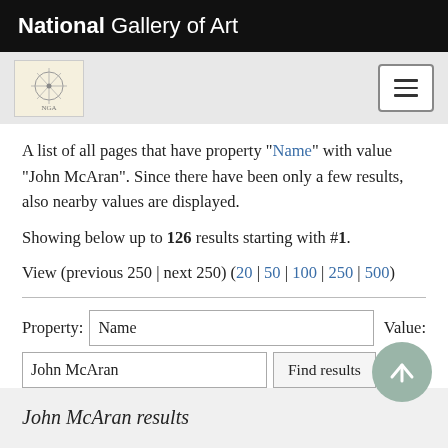National Gallery of Art
[Figure (logo): National Gallery of Art decorative logo stamp, small square]
A list of all pages that have property "Name" with value "John McAran". Since there have been only a few results, also nearby values are displayed.
Showing below up to 126 results starting with #1.
View (previous 250 | next 250) (20 | 50 | 100 | 250 | 500)
| Property | Value |
| --- | --- |
| Name |  |
| John McAran | Find results |